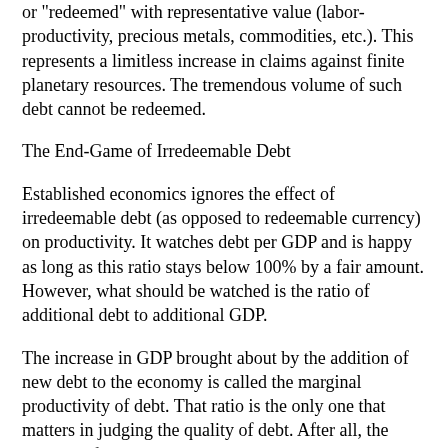or "redeemed" with representative value (labor-productivity, precious metals, commodities, etc.). This represents a limitless increase in claims against finite planetary resources. The tremendous volume of such debt cannot be redeemed.
The End-Game of Irredeemable Debt
Established economics ignores the effect of irredeemable debt (as opposed to redeemable currency) on productivity. It watches debt per GDP and is happy as long as this ratio stays below 100% by a fair amount. However, what should be watched is the ratio of additional debt to additional GDP.
The increase in GDP brought about by the addition of new debt to the economy is called the marginal productivity of debt. That ratio is the only one that matters in judging the quality of debt. After all, the purpose of contracting debt is to increase productivity. If debt volume rises faster than national productivity, big trouble is brewing, but only the marginal productivity of debt is capable of revealing it.
Precipitous decline